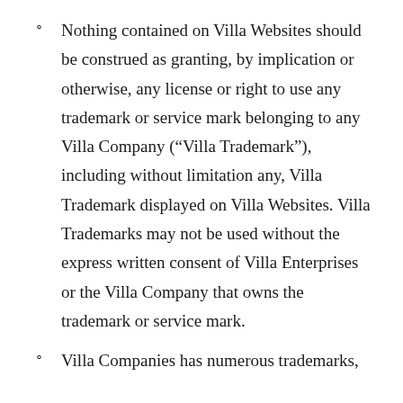Nothing contained on Villa Websites should be construed as granting, by implication or otherwise, any license or right to use any trademark or service mark belonging to any Villa Company (“Villa Trademark”), including without limitation any, Villa Trademark displayed on Villa Websites. Villa Trademarks may not be used without the express written consent of Villa Enterprises or the Villa Company that owns the trademark or service mark.
Villa Companies has numerous trademarks,